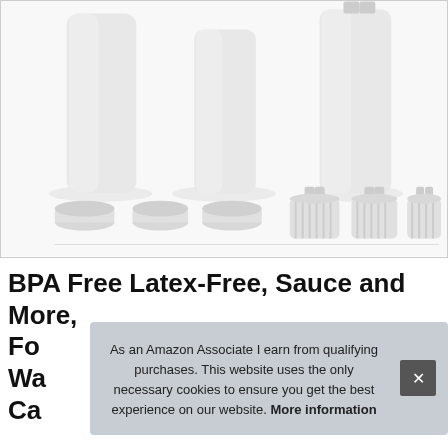[Figure (photo): Product photo showing three white plastic bottles of different sizes with caps removed, and below them three disc-cap lids and three pump/spray nozzle caps, all in white, displayed on white background.]
BPA Free Latex-Free, Sauce and More, Fo... Wa... Ca...
As an Amazon Associate I earn from qualifying purchases. This website uses the only necessary cookies to ensure you get the best experience on our website. More information